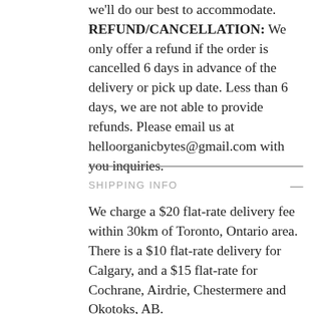we'll do our best to accommodate. REFUND/CANCELLATION: We only offer a refund if the order is cancelled 6 days in advance of the delivery or pick up date. Less than 6 days, we are not able to provide refunds. Please email us at helloorganicbytes@gmail.com with you inquiries.
SHIPPING INFO
We charge a $20 flat-rate delivery fee within 30km of Toronto, Ontario area. There is a $10 flat-rate delivery for Calgary, and a $15 flat-rate for Cochrane, Airdrie, Chestermere and Okotoks, AB. Note. we only use our own service for deliveries and guarantee both on-time